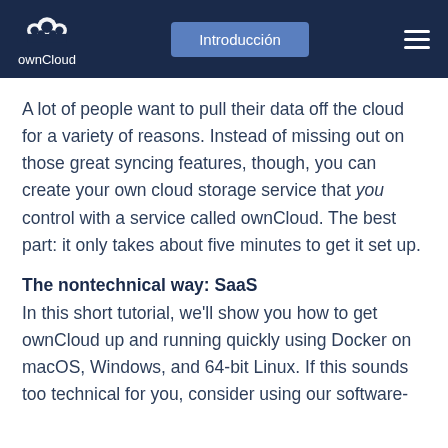ownCloud | Introducción
A lot of people want to pull their data off the cloud for a variety of reasons. Instead of missing out on those great syncing features, though, you can create your own cloud storage service that you control with a service called ownCloud. The best part: it only takes about five minutes to get it set up.
The nontechnical way: SaaS
In this short tutorial, we'll show you how to get ownCloud up and running quickly using Docker on macOS, Windows, and 64-bit Linux. If this sounds too technical for you, consider using our software-